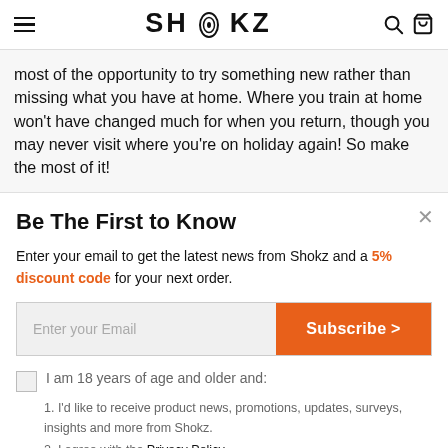SHOKZ
most of the opportunity to try something new rather than missing what you have at home. Where you train at home won't have changed much for when you return, though you may never visit where you're on holiday again! So make the most of it!
Be The First to Know
Enter your email to get the latest news from Shokz and a 5% discount code for your next order.
Enter your Email  Subscribe >
I am 18 years of age and older and:
1. I'd like to receive product news, promotions, updates, surveys, insights and more from Shokz.
2. I agree with the Privacy Policy.